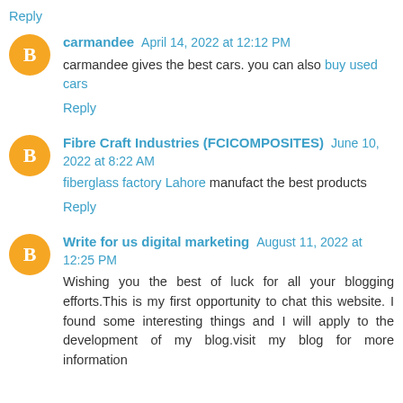Reply
carmandee April 14, 2022 at 12:12 PM
carmandee gives the best cars. you can also buy used cars
Reply
Fibre Craft Industries (FCICOMPOSITES) June 10, 2022 at 8:22 AM
fiberglass factory Lahore manufact the best products
Reply
Write for us digital marketing August 11, 2022 at 12:25 PM
Wishing you the best of luck for all your blogging efforts.This is my first opportunity to chat this website. I found some interesting things and I will apply to the development of my blog.visit my blog for more information